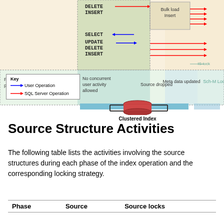[Figure (flowchart): Diagram showing phases of index build operation with concurrent user activity (SELECT, UPDATE, DELETE, INSERT), Bulk load Insert box, IS-lock, Final phase with No concurrent user activity allowed, Source dropped, Meta data updated, Sch-M Lock labels, and arrows pointing to Clustered Index cylinder. Blue arrow = User Operation, Red arrow = SQL Server Operation. Key legend in lower left.]
Source Structure Activities
The following table lists the activities involving the source structures during each phase of the index operation and the corresponding locking strategy.
| Phase | Source | Source locks |
| --- | --- | --- |